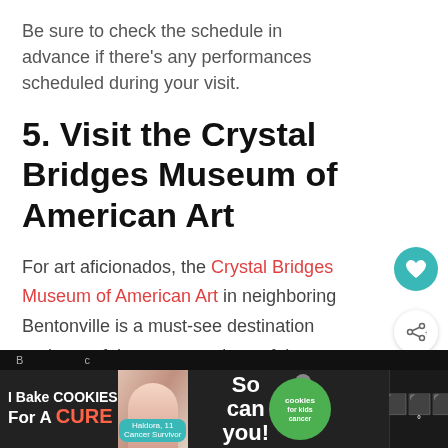Be sure to check the schedule in advance if there’s any performances scheduled during your visit.
5. Visit the Crystal Bridges Museum of American Art
For art aficionados, the Crystal Bridges Museum of American Art in neighboring Bentonville is a must-see destination and one of the top attractions of the region.
[Figure (other): WHAT'S NEXT arrow label with thumbnail image and text '41 Unique Boat...']
[Figure (other): Advertisement banner: I Bake COOKIES For A CURE - Haldora, 11 Cancer Survivor - So can you! cookies for kids cancer]